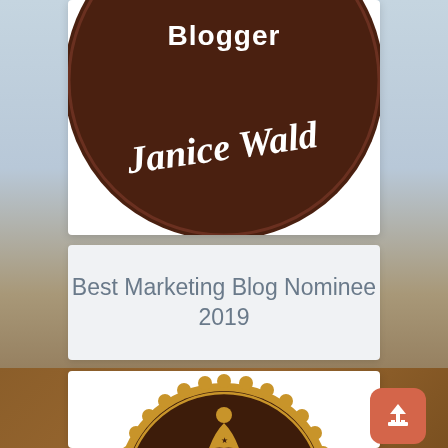[Figure (illustration): Top portion of a circular brown badge showing the word 'Blogger' at top and 'Janice Wald' in large white script text on a brown background, displayed on a white card with a light blue desk/background scene]
Best Marketing Blog Nominee 2019
[Figure (illustration): Infinity Blog Awards Nominee gold seal badge - a circular dark brown award seal with gold serrated edges, featuring a gold human figure at top, laurel wreaths on sides, and text 'INFINITY BLOG AWARDS. NOMINEE' in gold letters. An orange/coral rounded square button with a white upload/share icon is overlaid at bottom right.]